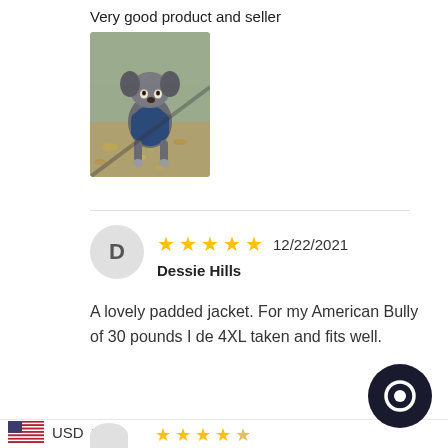Very good product and seller
[Figure (photo): Photo of a small dog wearing a blue jacket, standing outdoors]
[Figure (other): 5-star rating with date 12/22/2021 and reviewer avatar D]
Dessie Hills
A lovely padded jacket. For my American Bully of 30 pounds I de 4XL taken and fits well.
USD ▾